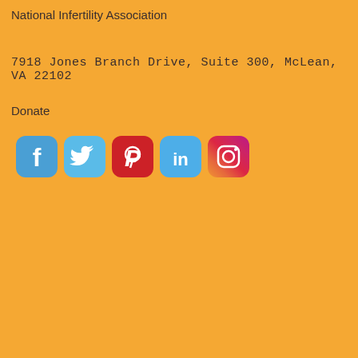National Infertility Association
7918 Jones Branch Drive, Suite 300, McLean, VA 22102
Donate
[Figure (infographic): Five social media icons in a row: Facebook (blue rounded square), Twitter (light blue rounded square), Pinterest (red rounded square), LinkedIn (blue rounded square), Instagram (gradient rounded square)]